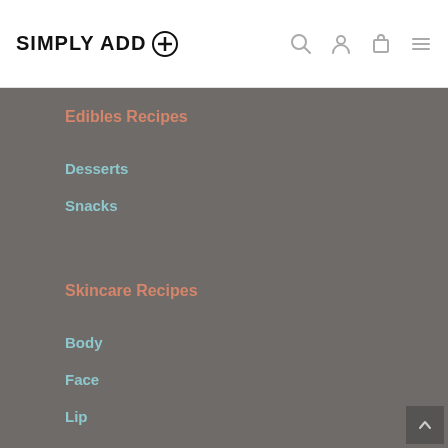SIMPLY ADD (logo with plus icon) — navigation icons: search, account, cart, menu
Edibles Recipes
Desserts
Snacks
Skincare Recipes
Body
Face
Lip